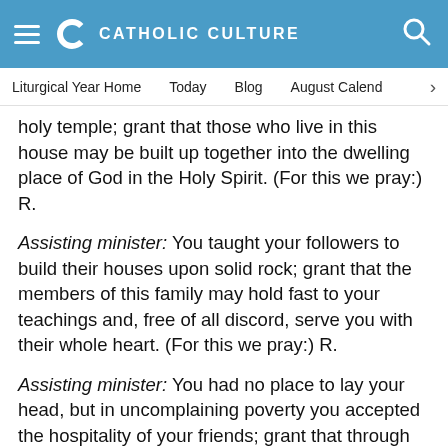CATHOLIC CULTURE
Liturgical Year Home   Today   Blog   August Calend ›
holy temple; grant that those who live in this house may be built up together into the dwelling place of God in the Holy Spirit. (For this we pray:) R.
Assisting minister: You taught your followers to build their houses upon solid rock; grant that the members of this family may hold fast to your teachings and, free of all discord, serve you with their whole heart. (For this we pray:) R.
Assisting minister: You had no place to lay your head, but in uncomplaining poverty you accepted the hospitality of your friends; grant that through our help people who are homeless may obtain decent housing. (For this we pray:) R.
PRAYER OF BLESSING